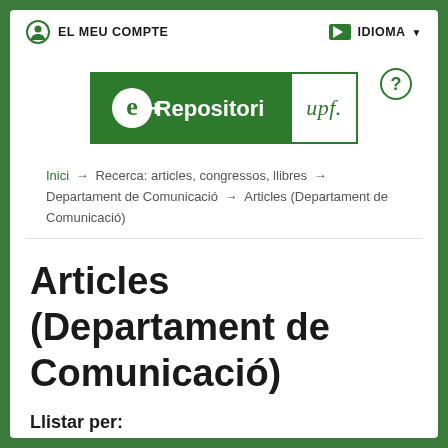EL MEU COMPTE
IDIOMA
[Figure (logo): e-Repositori UPF logo — green background with white 'e+Repositori' text on the left and 'upf.' in green on white border box on the right]
Inici → Recerca: articles, congressos, llibres → Departament de Comunicació → Articles (Departament de Comunicació)
Articles (Departament de Comunicació)
Llistar per: